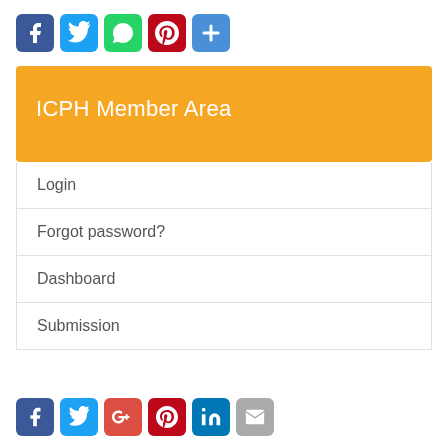[Figure (other): Row of social media icon buttons: Facebook (blue), Twitter (blue), WhatsApp (green), Pinterest (red), Share/Plus (blue)]
ICPH Member Area
Login
Forgot password?
Dashboard
Submission
[Figure (other): Row of social media icon buttons at bottom: Facebook (blue), Twitter (blue), Google+ (red), Pinterest (red), LinkedIn (blue), Email (grey)]